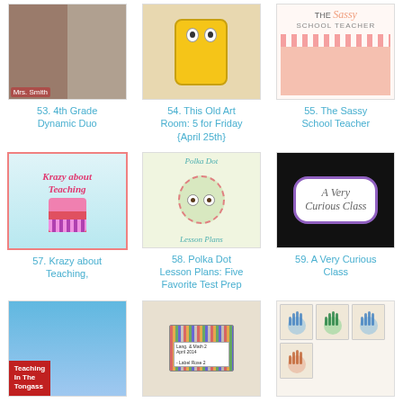[Figure (photo): Photo collage: two women portraits, one with 'Mrs. Smith' label]
53. 4th Grade Dynamic Duo
[Figure (photo): Child standing next to SpongeBob SquarePants character]
54. This Old Art Room: 5 for Friday {April 25th}
[Figure (illustration): The Sassy School Teacher blog logo with pink chevron design]
55. The Sassy School Teacher
[Figure (illustration): Krazy About Teaching blog logo with cupcake and polka dots]
57. Krazy about Teaching,
[Figure (illustration): Polka Dot Lesson Plans logo with owl illustration]
58. Polka Dot Lesson Plans: Five Favorite Test Prep
[Figure (illustration): A Very Curious Class logo with cloud and purple border on dark background]
59. A Very Curious Class
[Figure (illustration): Teaching In The Tongass blog logo with cartoon teacher character]
[Figure (photo): Pencil box or supply organizer with colorful pencils and label]
[Figure (photo): Handprint art cards with blue and green handprints on light paper]